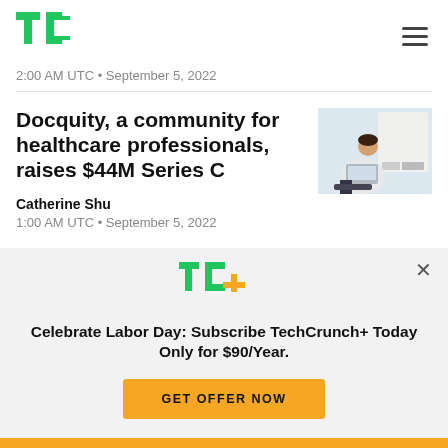TechCrunch logo and navigation
2:00 AM UTC • September 5, 2022
Docquity, a community for healthcare professionals, raises $44M Series C
Catherine Shu
1:00 AM UTC • September 5, 2022
[Figure (photo): Person in white coat working on a laptop, seated near a whiteboard in a professional setting]
Celebrate Labor Day: Subscribe TechCrunch+ Today Only for $90/Year.
GET OFFER NOW